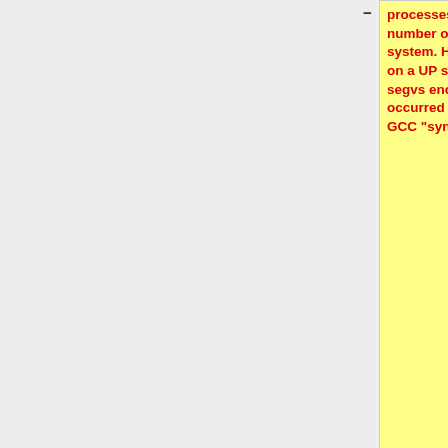processes spawned depends on the number of processors on the build system. However, the faults occur even on a UP system. I debugged one of these segvs enough to see that the problem occurred in a glib2.0 library.  It's using the GCC "sync" interface.
* return ((unsigned long) mapping >> 7) & ((SHMLBA >> PAGE_SHIFT) - 1); in arch/parisc/kernel/sys_parisc.c
* debian parisc perl bug (http://bugs.debian.org/cgi-bin/bugreport.cgi?bug=704537)